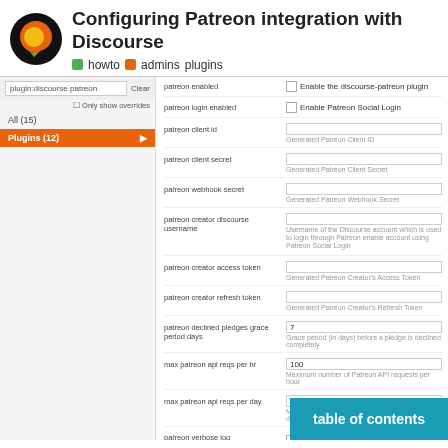Configuring Patreon integration with Discourse
howto   admins   plugins
[Figure (screenshot): Screenshot of Discourse admin settings panel showing Patreon plugin configuration fields including patreon enabled, patreon login enabled, patreon client id, patreon client secret, patreon webhook secret, patreon creator discourse username, patreon creator access token, patreon creator refresh token, patreon declined pledges grace period days, max patreon api reqs per hr, max patreon api reqs per day, patreon verbose log, patreon donation prompt enabled, patreon donation prompt show after topics, and patreon donation fields. Left sidebar shows plugin.discourse.patreon search filter with All (15) and Plugins (12) categories.]
table of contents